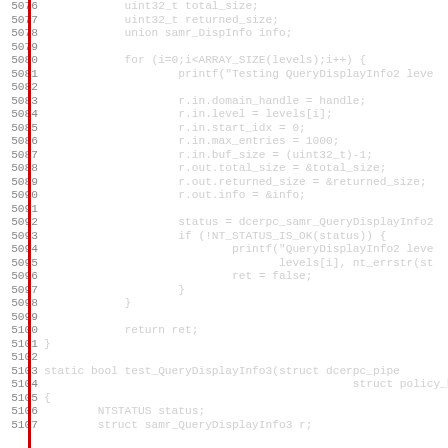[Figure (screenshot): Source code listing showing C code for test_QueryDisplayInfo2 and beginning of test_QueryDisplayInfo3 functions, with line numbers 5076-5107 and a red vertical bar on the left margin.]